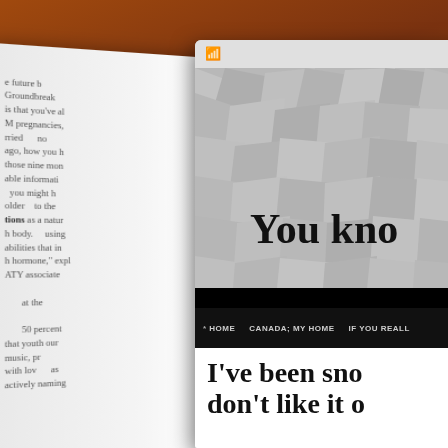[Figure (photo): Open book/tablet scene on a wooden table. Left side shows an open printed magazine/book page with text about pregnancies and the future. Right side shows a tablet or screen displaying a website with a crinkled-texture header image showing the text 'You kno' (truncated), a black navigation bar with links '* HOME', 'CANADA; MY HOME', 'IF YOU REALL', and below that a white content area with headline text 'I've been sno don't like it o' (truncated).]